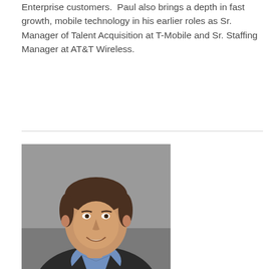Enterprise customers.  Paul also brings a depth in fast growth, mobile technology in his earlier roles as Sr. Manager of Talent Acquisition at T-Mobile and Sr. Staffing Manager at AT&T Wireless.
[Figure (photo): Professional headshot of a middle-aged man with brown hair, wearing a dark blazer and blue collared shirt, smiling, against a gray background.]